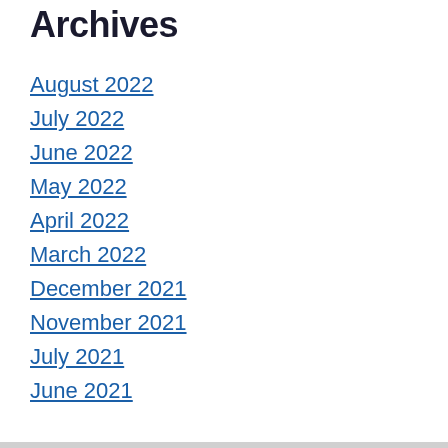Archives
August 2022
July 2022
June 2022
May 2022
April 2022
March 2022
December 2021
November 2021
July 2021
June 2021